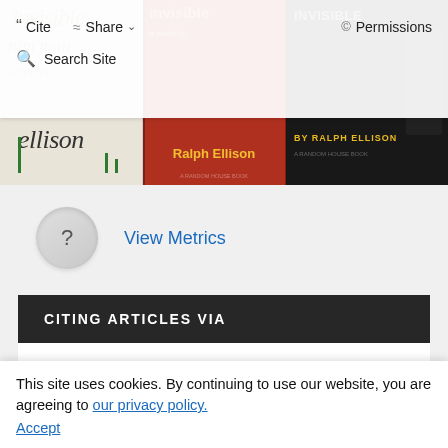[Figure (screenshot): Toolbar overlay with Cite, Share, Permissions buttons and Search Site field over book cover strip showing multiple editions of Invisible Man by Ralph Ellison]
[Figure (photo): Three book cover images side by side: white/green Ellison cover, red Ralph Ellison cover, and dark/black BY RALPH ELLISON cover]
View Metrics
CITING ARTICLES VIA
Google Scholar
Crossref
This site uses cookies. By continuing to use our website, you are agreeing to our privacy policy. Accept